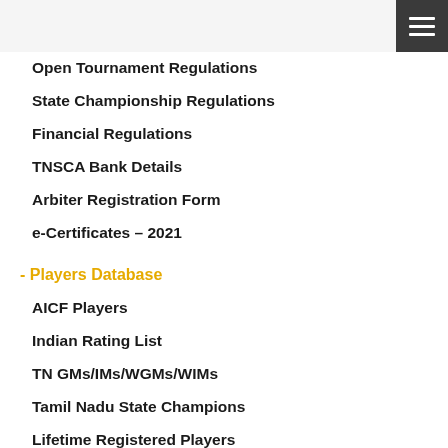Open Tournament Regulations
State Championship Regulations
Financial Regulations
TNSCA Bank Details
Arbiter Registration Form
e-Certificates – 2021
- Players Database
AICF Players
Indian Rating List
TN GMs/IMs/WGMs/WIMs
Tamil Nadu State Champions
Lifetime Registered Players
- TNSCA info
Registered Arbiters
Recognized Academies